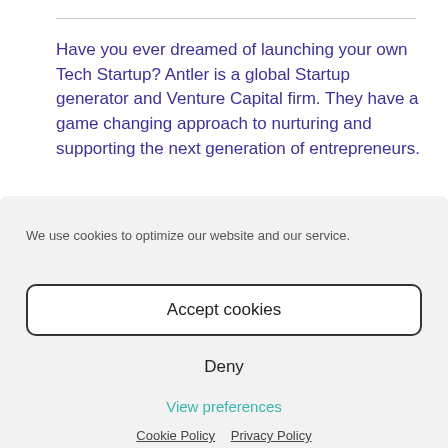Have you ever dreamed of launching your own Tech Startup? Antler is a global Startup generator and Venture Capital firm. They have a game changing approach to nurturing and supporting the next generation of entrepreneurs.
We use cookies to optimize our website and our service.
Accept cookies
Deny
View preferences
Cookie Policy   Privacy Policy